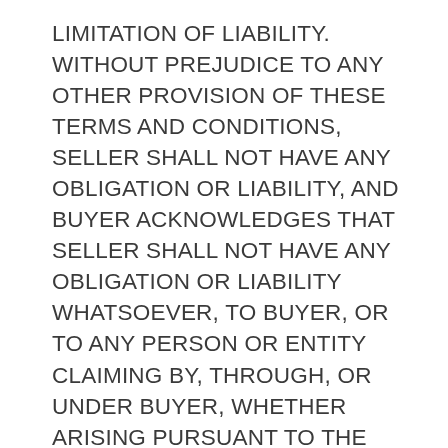LIMITATION OF LIABILITY. WITHOUT PREJUDICE TO ANY OTHER PROVISION OF THESE TERMS AND CONDITIONS, SELLER SHALL NOT HAVE ANY OBLIGATION OR LIABILITY, AND BUYER ACKNOWLEDGES THAT SELLER SHALL NOT HAVE ANY OBLIGATION OR LIABILITY WHATSOEVER, TO BUYER, OR TO ANY PERSON OR ENTITY CLAIMING BY, THROUGH, OR UNDER BUYER, WHETHER ARISING PURSUANT TO THE LIMITED WARRANTY, PURSUANT TO ANY AGREEMENT PERTAINING TO THE PRODUCTS, OR IN CONTRACT, IN INDEMNITY, IN TORT (INCLUDING BUT NOT LIMITED TO NEGLIGENCE), IN PRODUCTS LIABILITY, IN STRICT LIABILITY, OR OTHERWISE, FOR ANY EXEMPLARY OR PUNITIVE DAMAGES OR FOR ANY SPECIAL, INDIRECT, INCIDENTAL, OR CONSEQUENTIAL